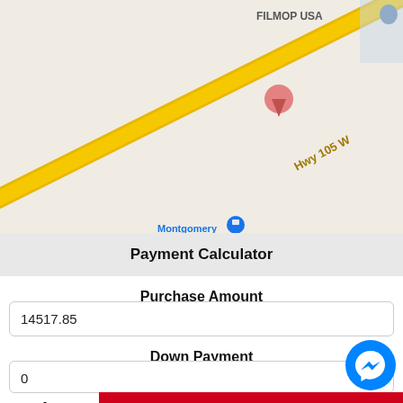[Figure (map): Google Maps screenshot showing Hwy 105 W with location pin, FILMOP USA label, Montgomery Trailer Sales, Glass World, Mr Taco & Te... and Grace Lutheran Sc... labels]
Payment Calculator
Purchase Amount
14517.85
Down Payment
0
An...
Leave a message